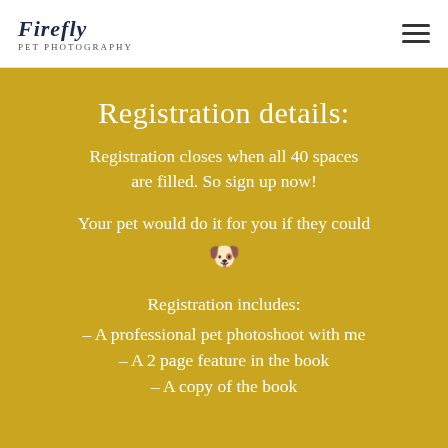Firefly
Registration details:
Registration closes when all 40 spaces are filled. So sign up now!
Your pet would do it for you if they could 🐶
Registration includes:
– A professional pet photoshoot with me
– A 2 page feature in the book
– A copy of the book